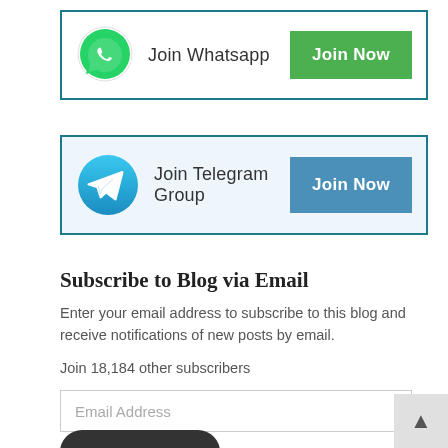[Figure (infographic): WhatsApp join card with green WhatsApp logo on left, text 'Join Whatsapp' in center, and green 'Join Now' button on right, inside a teal-bordered box]
[Figure (infographic): Telegram join card with blue Telegram logo on left, text 'Join Telegram Group' in center, and steel-blue 'Join Now' button on right, inside a teal-bordered light-blue box]
Subscribe to Blog via Email
Enter your email address to subscribe to this blog and receive notifications of new posts by email.
Join 18,184 other subscribers